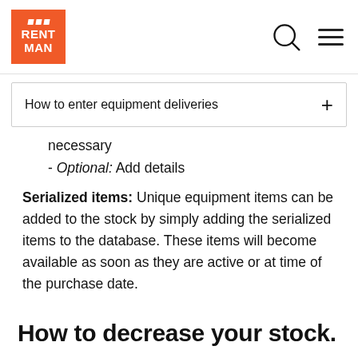RENT MAN [logo]
How to enter equipment deliveries +
necessary
- Optional: Add details
Serialized items: Unique equipment items can be added to the stock by simply adding the serialized items to the database. These items will become available as soon as they are active or at time of the purchase date.
How to decrease your stock.